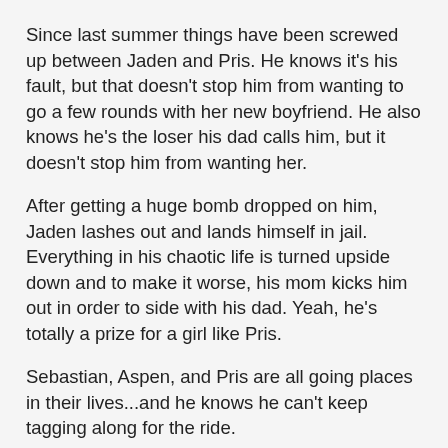Since last summer things have been screwed up between Jaden and Pris. He knows it's his fault, but that doesn't stop him from wanting to go a few rounds with her new boyfriend. He also knows he's the loser his dad calls him, but it doesn't stop him from wanting her.
After getting a huge bomb dropped on him, Jaden lashes out and lands himself in jail. Everything in his chaotic life is turned upside down and to make it worse, his mom kicks him out in order to side with his dad. Yeah, he's totally a prize for a girl like Pris.
Sebastian, Aspen, and Pris are all going places in their lives...and he knows he can't keep tagging along for the ride.
The group has one last chance for The Epic Adventure they've been looking for: a road trip to New York, where Jaden's friends will be going to college. Unfortunately, the more time Jaden hangs around Pris, the harder it is to keep the carefully constructed walls between them so she doesn't find out what a train wreck he really is.